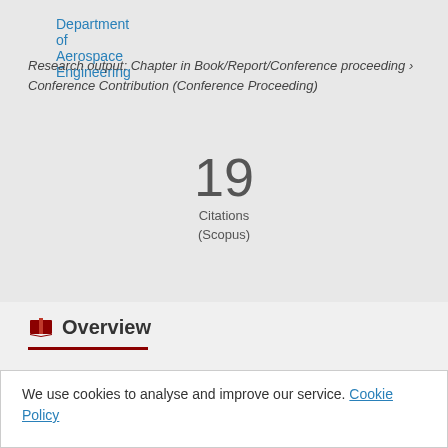Department of Aerospace Engineering
Research output: Chapter in Book/Report/Conference proceeding › Conference Contribution (Conference Proceeding)
19 Citations (Scopus)
Overview
We use cookies to analyse and improve our service. Cookie Policy